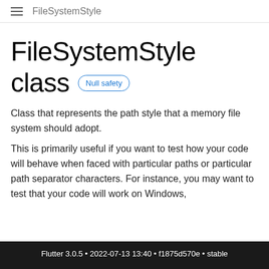FileSystemStyle
FileSystemStyle
class
Class that represents the path style that a memory file system should adopt.
This is primarily useful if you want to test how your code will behave when faced with particular paths or particular path separator characters. For instance, you may want to test that your code will work on Windows,
Flutter 3.0.5 • 2022-07-13 13:40 • f1875d570e • stable